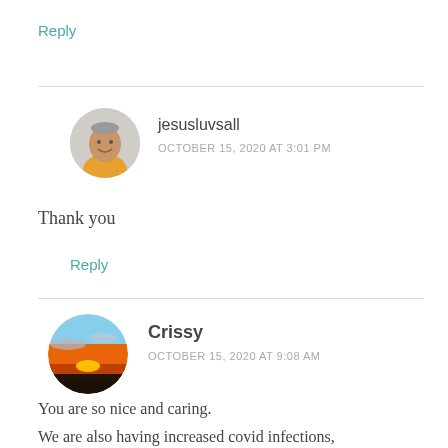Reply
[Figure (photo): Circular avatar of a man in an orange shirt]
jesusluvsall
OCTOBER 15, 2020 AT 3:01 PM
Thank you
Reply
[Figure (photo): Circular avatar showing a sunset with orange sky]
Crissy
OCTOBER 15, 2020 AT 9:08 AM
You are so nice and caring.
We are also having increased covid infections,